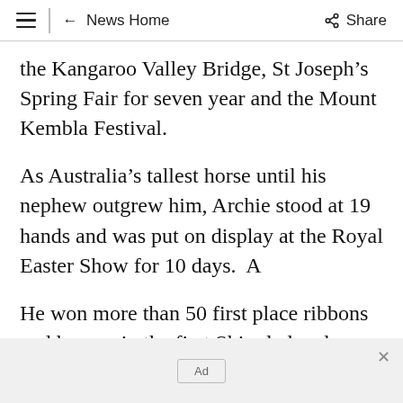≡ ← News Home   Share
the Kangaroo Valley Bridge, St Joseph's Spring Fair for seven year and the Mount Kembla Festival.
As Australia's tallest horse until his nephew outgrew him, Archie stood at 19 hands and was put on display at the Royal Easter Show for 10 days.  A
He won more than 50 first place ribbons and he was in the first Shire led and ridden classes at
[Figure (other): Advertisement banner at bottom of page with 'Ad' label and close button]